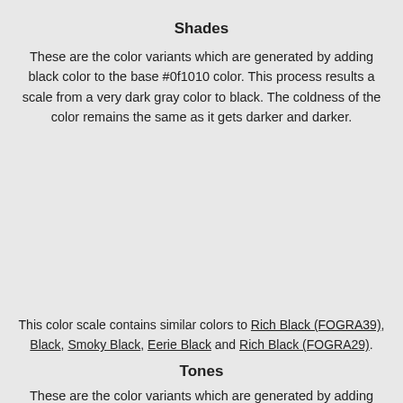Shades
These are the color variants which are generated by adding black color to the base #0f1010 color. This process results a scale from a very dark gray color to black. The coldness of the color remains the same as it gets darker and darker.
[Figure (illustration): Two rows of hexagons in very dark/black colors arranged in a honeycomb pattern. Top row has 5 hexagons, bottom row has 5 hexagons offset.]
This color scale contains similar colors to Rich Black (FOGRA39), Black, Smoky Black, Eerie Black and Rich Black (FOGRA29).
Tones
These are the color variants which are generated by adding gray